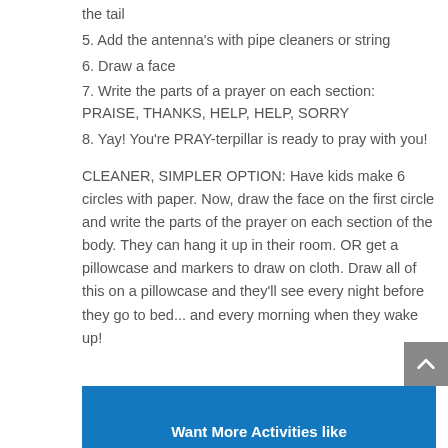the tail
5. Add the antenna's with pipe cleaners or string
6. Draw a face
7. Write the parts of a prayer on each section: PRAISE, THANKS, HELP, HELP, SORRY
8. Yay! You're PRAY-terpillar is ready to pray with you!
CLEANER, SIMPLER OPTION: Have kids make 6 circles with paper. Now, draw the face on the first circle and write the parts of the prayer on each section of the body. They can hang it up in their room. OR get a pillowcase and markers to draw on cloth. Draw all of this on a pillowcase and they'll see every night before they go to bed... and every morning when they wake up!
Want More Activities like